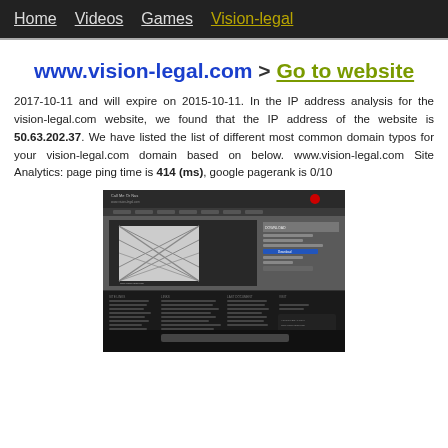Home  Videos  Games  Vision-legal
www.vision-legal.com > Go to website
2017-10-11 and will expire on 2015-10-11. In the IP address analysis for the vision-legal.com website, we found that the IP address of the website is 50.63.202.37. We have listed the list of different most common domain typos for your vision-legal.com domain based on below. www.vision-legal.com Site Analytics: page ping time is 414 (ms), google pagerank is 0/10
[Figure (screenshot): Screenshot of vision-legal.com website showing a dark-themed page with video content area, sidebar with download button, navigation bar, and dark footer with multiple columns of links.]